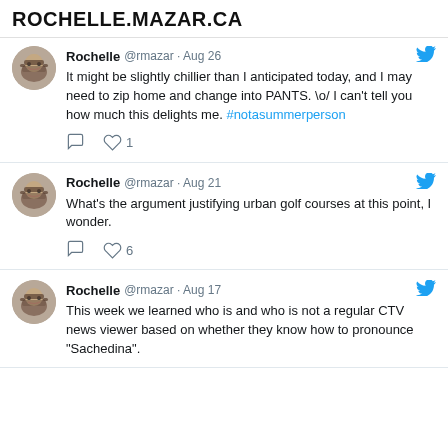ROCHELLE.MAZAR.CA
Rochelle @rmazar · Aug 26
It might be slightly chillier than I anticipated today, and I may need to zip home and change into PANTS. \o/ I can't tell you how much this delights me. #notasummerperson
♡ 1
Rochelle @rmazar · Aug 21
What's the argument justifying urban golf courses at this point, I wonder.
♡ 6
Rochelle @rmazar · Aug 17
This week we learned who is and who is not a regular CTV news viewer based on whether they know how to pronounce "Sachedina".